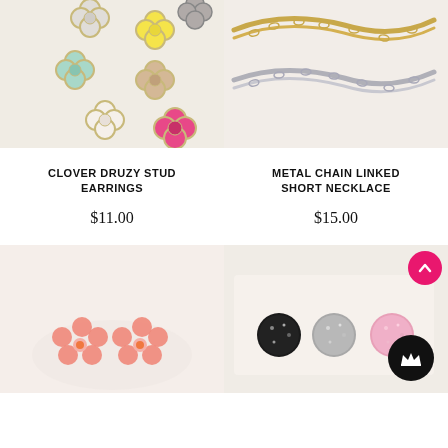[Figure (photo): Multiple colorful clover druzy stud earrings in various colors (yellow, mint, pink, white, silver, champagne) on a cream background]
[Figure (photo): Metal chain linked short necklaces in gold and silver tones on a light background]
CLOVER DRUZY STUD EARRINGS
METAL CHAIN LINKED SHORT NECKLACE
$11.00
$15.00
[Figure (photo): Pink flower stud earrings on a light pink background]
[Figure (photo): Assorted druzy stud earrings in black, gray, clear, and pink on a cream background, with a pink scroll-up button and black crown badge icon overlay]